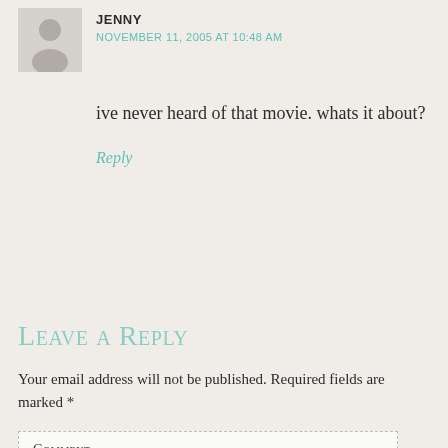JENNY
NOVEMBER 11, 2005 AT 10:48 AM
ive never heard of that movie. whats it about?
Reply
Leave a Reply
Your email address will not be published. Required fields are marked *
Comment